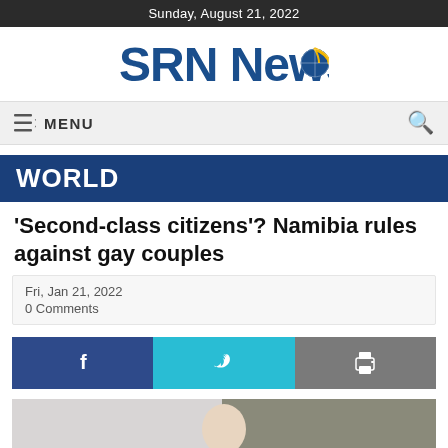Sunday, August 21, 2022
[Figure (logo): SRN News logo with blue text and globe icon]
≡⬦ MENU
WORLD
'Second-class citizens'? Namibia rules against gay couples
Fri, Jan 21, 2022
0 Comments
[Figure (screenshot): Social share buttons: Facebook (f), Twitter (bird), Print (printer icon)]
[Figure (photo): Partially visible photo of a person, likely in a formal setting]